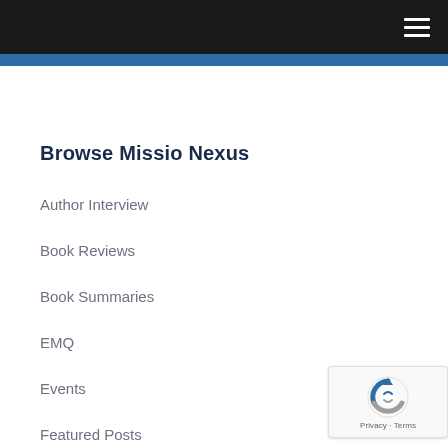Browse Missio Nexus navigation header with hamburger menu
Browse Missio Nexus
Author Interview
Book Reviews
Book Summaries
EMQ
Events
Featured Posts
Media Library
Member Highlights
Missiographics
[Figure (logo): reCAPTCHA badge with Privacy and Terms links]